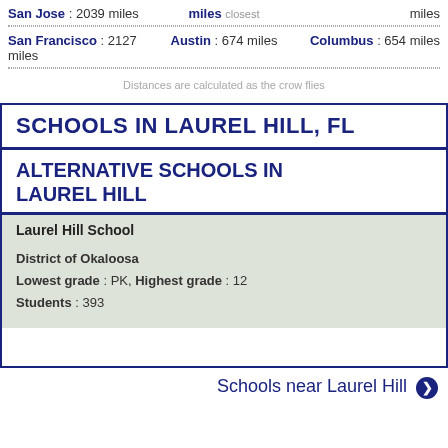San Jose : 2039 miles
miles closest
miles
San Francisco : 2127 miles
Austin : 674 miles
Columbus : 654 miles
Distances are calculated as the crow flies
SCHOOLS IN LAUREL HILL, FL
ALTERNATIVE SCHOOLS IN LAUREL HILL
Laurel Hill School
District of Okaloosa
Lowest grade : PK, Highest grade : 12
Students : 393
Schools near Laurel Hill